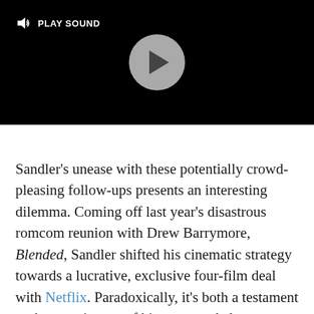[Figure (screenshot): Black video player with a 'PLAY SOUND' button in the top-left corner and a gray circular play button in the center]
Sandler's unease with these potentially crowd-pleasing follow-ups presents an interesting dilemma. Coming off last year's disastrous romcom reunion with Drew Barrymore, Blended, Sandler shifted his cinematic strategy towards a lucrative, exclusive four-film deal with Netflix. Paradoxically, it's both a testament to the prominence of his name and also